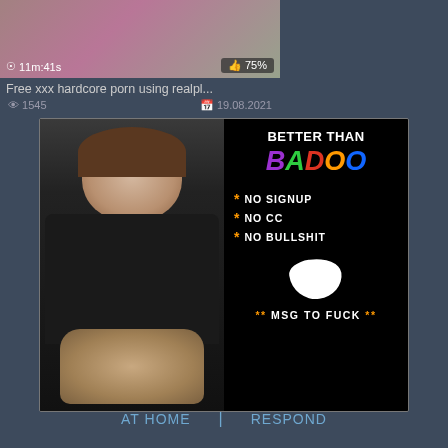11m:41s  75%
Free xxx hardcore porn using realpl...
1545    19.08.2021
[Figure (photo): Composite image: left side shows a person photo, right side shows a dark advertisement panel reading BETTER THAN BADOO, NO SIGNUP, NO CC, NO BULLSHIT, MSG TO FUCK]
AT HOME  |  RESPOND